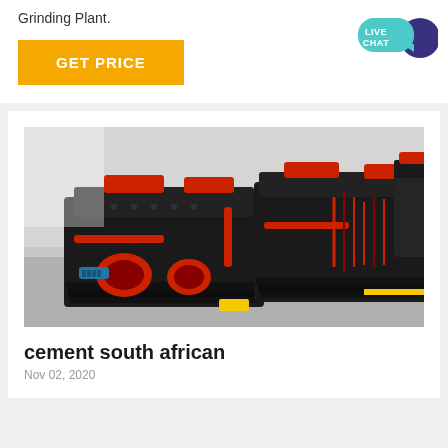Grinding Plant.
GET PRICE
[Figure (photo): Industrial heavy machinery (hammer mills or crushers) lined up in a factory warehouse, painted black with red components and accents, viewed from a low angle.]
cement south african
Nov 02, 2020